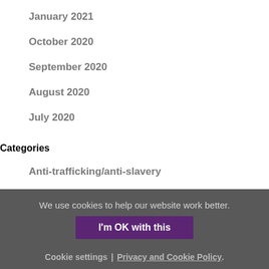January 2021
October 2020
September 2020
August 2020
July 2020
Categories
Anti-trafficking/anti-slavery
Calls for Funding
Covid-19
We use cookies to help our website work better.
I'm OK with this
Cookie settings | Privacy and Cookie Policy